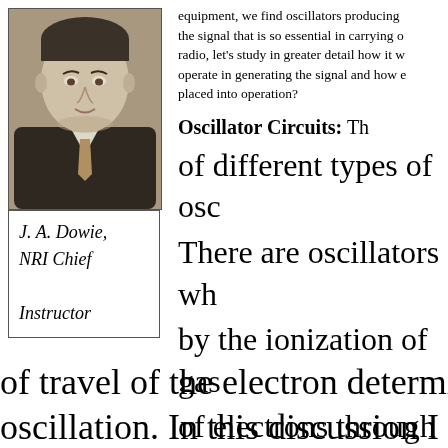[Figure (photo): Black and white portrait photo of J. A. Dowie, a man in a suit and tie]
J. A. Dowie, NRI Chief Instructor
equipment, we find oscillators producing the signal that is so essential in carrying on radio, let's study in greater detail how it will operate in generating the signal and how can placed into operation?
Oscillator Circuits: Th
of different types of osc
There are oscillators wh
by the ionization of gas
of electrons through ch
of travel of the electron determines the
oscillation. In this discussion I am goi